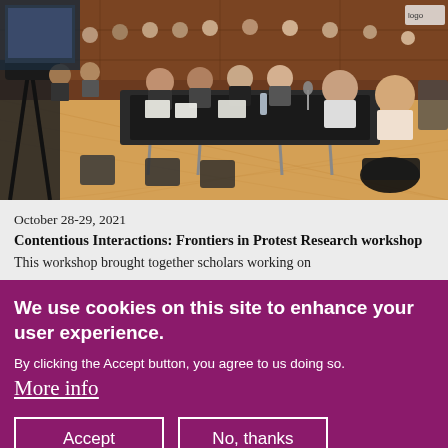[Figure (photo): A conference/workshop room with people seated around long tables arranged in a U-shape or rectangle. Participants appear to be attending an academic workshop. The room has warm wood-toned flooring and paneled walls. People are seated with papers and water bottles on the tables.]
October 28-29, 2021
Contentious Interactions: Frontiers in Protest Research workshop
This workshop brought together scholars working on
We use cookies on this site to enhance your user experience.
By clicking the Accept button, you agree to us doing so.
More info
Accept
No, thanks